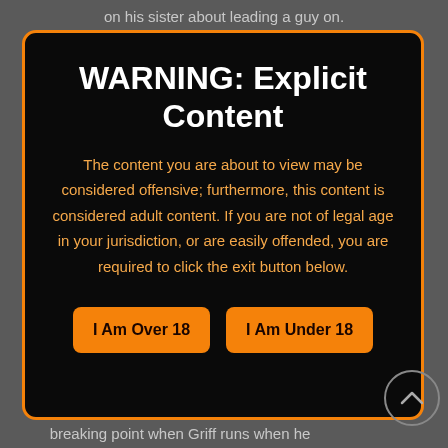on his sister about leading a guy on.
WARNING: Explicit Content
The content you are about to view may be considered offensive; furthermore, this content is considered adult content. If you are not of legal age in your jurisdiction, or are easily offended, you are required to click the exit button below.
I Am Over 18
I Am Under 18
breaking point when Griff runs when he